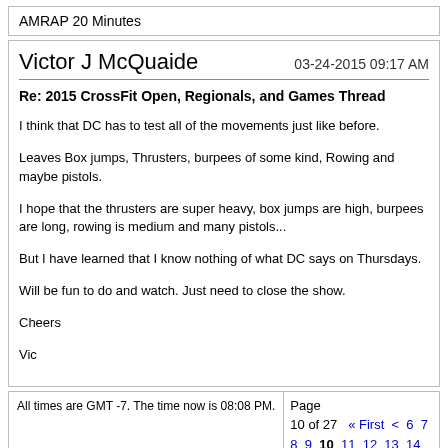AMRAP 20 Minutes
Victor J McQuaide
03-24-2015 09:17 AM
Re: 2015 CrossFit Open, Regionals, and Games Thread
I think that DC has to test all of the movements just like before.
Leaves Box jumps, Thrusters, burpees of some kind, Rowing and maybe pistols.
I hope that the thrusters are super heavy, box jumps are high, burpees are long, rowing is medium and many pistols...
But I have learned that I know nothing of what DC says on Thursdays.
Will be fun to do and watch. Just need to close the show.
Cheers
Vic
All times are GMT -7. The time now is 08:08 PM.
Page 10 of 27  « First  <  6  7  8  9  10  11  12  13  14  20  >  Last »
Show 40 post(s) from this thread on one page